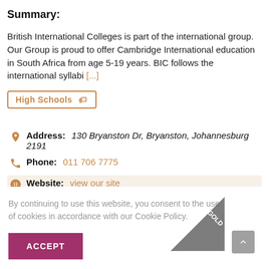Summary:
British International Colleges is part of the international group. Our Group is proud to offer Cambridge International education in South Africa from age 5-19 years. BIC follows the international syllabi [...]
High Schools
Address: 130 Bryanston Dr, Bryanston, Johannesburg 2191
Phone: 011 706 7775
Website: view our site
By continuing to use this website, you consent to the use of cookies in accordance with our Cookie Policy.
ACCEPT